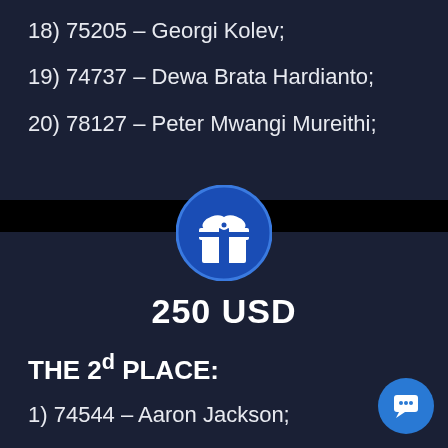18) 75205 – Georgi Kolev;
19) 74737 – Dewa Brata Hardianto;
20) 78127 – Peter Mwangi Mureithi;
[Figure (illustration): Gift box icon in a blue circle]
250 USD
THE 2d PLACE:
1) 74544 – Aaron Jackson;
2) 74879 – Alexey Maslenkov;
3) 74892 – Umit Kaya;